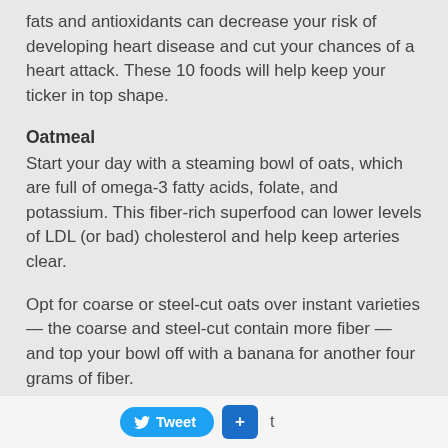fats and antioxidants can decrease your risk of developing heart disease and cut your chances of a heart attack. These 10 foods will help keep your ticker in top shape.
Oatmeal
Start your day with a steaming bowl of oats, which are full of omega-3 fatty acids, folate, and potassium. This fiber-rich superfood can lower levels of LDL (or bad) cholesterol and help keep arteries clear.
Opt for coarse or steel-cut oats over instant varieties — the coarse and steel-cut contain more fiber — and top your bowl off with a banana for another four grams of fiber.
Tweet  +  t